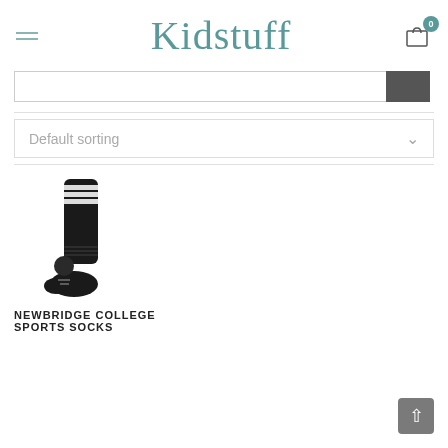Kidstuff
[Figure (screenshot): Search input bar with dark grey search button on the right]
[Figure (screenshot): Default sorting dropdown selector with chevron arrow]
[Figure (photo): Black and white striped sports sock (knee-high) standing upright on white background]
NEWBRIDGE COLLEGE SPORTS SOCKS